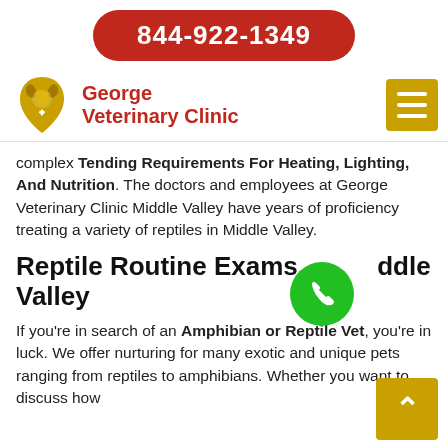844-922-1349
[Figure (logo): George Veterinary Clinic logo with golden dog/cat silhouette and red clinic name text]
complex Tending Requirements For Heating, Lighting, And Nutrition. The doctors and employees at George Veterinary Clinic Middle Valley have years of proficiency treating a variety of reptiles in Middle Valley.
Reptile Routine Exams Middle Valley
If you're in search of an Amphibian or Reptile Vet, you're in luck. We offer nurturing for many exotic and unique pets ranging from reptiles to amphibians. Whether you want to discuss how